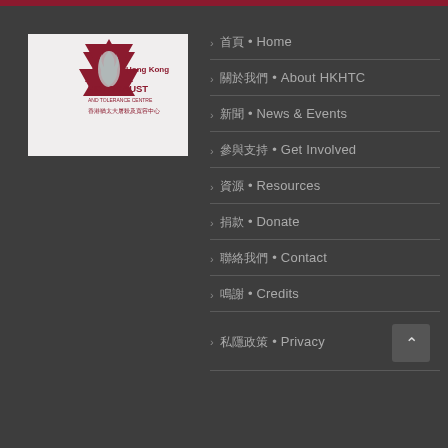[Figure (logo): Hong Kong Holocaust and Tolerance Centre logo — red Star of David with flame, text 'Hong Kong HOLOCAUST AND TOLERANCE CENTRE' and Chinese characters]
首頁 • Home
關於我們 • About HKHTC
新聞 • News & Events
參與支持 • Get Involved
資源 • Resources
捐款 • Donate
聯絡我們 • Contact
鳴謝 • Credits
私隱政策 • Privacy